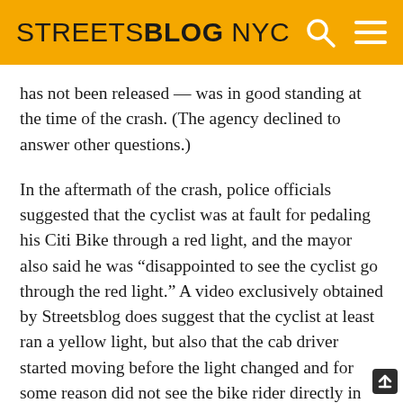STREETSBLOG NYC
has not been released — was in good standing at the time of the crash. (The agency declined to answer other questions.)
In the aftermath of the crash, police officials suggested that the cyclist was at fault for pedaling his Citi Bike through a red light, and the mayor also said he was “disappointed to see the cyclist go through the red light.” A video exclusively obtained by Streetsblog does suggest that the cyclist at least ran a yellow light, but also that the cab driver started moving before the light changed and for some reason did not see the bike rider directly in front of him.
In any event, Harris pointed out that the victim-